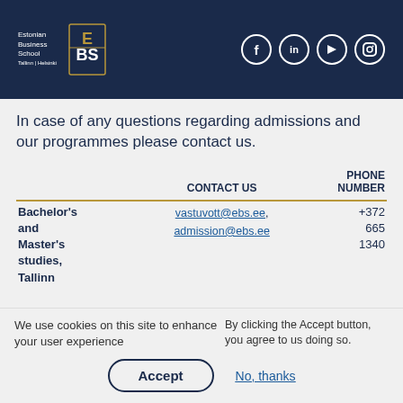[Figure (logo): Estonian Business School EBS logo with social media icons (Facebook, LinkedIn, YouTube, Instagram) on dark navy background]
In case of any questions regarding admissions and our programmes please contact us.
|  | CONTACT US | PHONE NUMBER |
| --- | --- | --- |
| Bachelor's and Master's studies, Tallinn | vastuvott@ebs.ee, admission@ebs.ee | +372 665 1340 |
We use cookies on this site to enhance your user experience
By clicking the Accept button, you agree to us doing so.
Accept
No, thanks